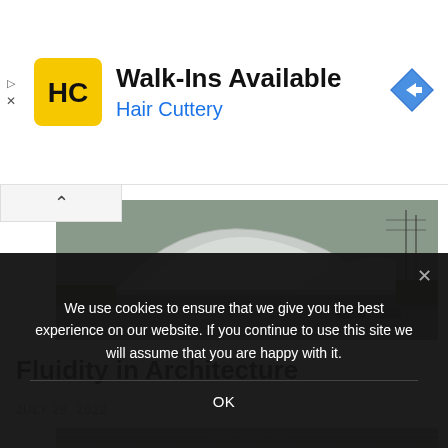[Figure (other): Hair Cuttery advertisement banner with HC logo, text 'Walk-Ins Available / Hair Cuttery', and navigation arrow icon]
[Figure (photo): Modern futuristic white curved architecture building exterior, likely Heydar Aliyev Center or similar, with grassy grounds and parked cars]
Fluidity in Architecture
JULY 28, 2022
[Figure (photo): Classical stone architecture detail showing decorative cornice and columns]
We use cookies to ensure that we give you the best experience on our website. If you continue to use this site we will assume that you are happy with it.
OK